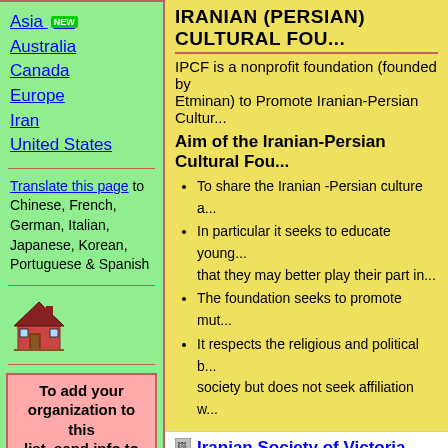Asia NEW
Australia
Canada
Europe
Iran
United States
Translate this page to Chinese, French, German, Italian, Japanese, Korean, Portuguese & Spanish
[Figure (illustration): House/home icon illustration in red and brown]
To add your organization to this list, send info to IPCO
If your organization has a website and you would like it to
IRANIAN (PERSIAN) CULTURAL FOU...
IPCF is a nonprofit foundation (founded by Etminan) to Promote Iranian-Persian Cultur...
Aim of the Iranian-Persian Cultural Fou...
To share the Iranian -Persian culture a...
In particular it seeks to educate young... that they may better play their part in...
The foundation seeks to promote mut...
It respects the religious and political b... society but does not seek affiliation w...
Iranian Society of Victoria
Address: Whitehorse Centre. Level 3 Forest Hill Chase Shopping Centre Canterbury Rd, Forest Hill Melway 62C2
We are a non profit making, non political, a... Melbourne Australia. Our efforts, assets, an...